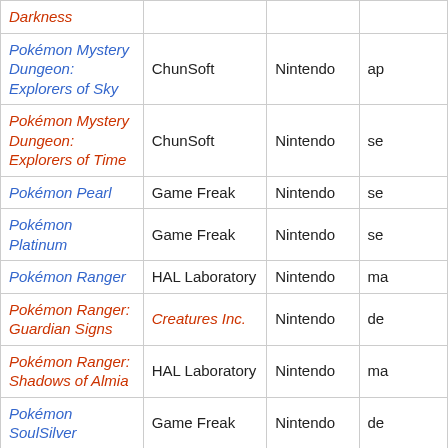| Game | Developer | Publisher | Date |
| --- | --- | --- | --- |
| Darkness |  |  |  |
| Pokémon Mystery Dungeon: Explorers of Sky | ChunSoft | Nintendo | ap… |
| Pokémon Mystery Dungeon: Explorers of Time | ChunSoft | Nintendo | se… |
| Pokémon Pearl | Game Freak | Nintendo | se… |
| Pokémon Platinum | Game Freak | Nintendo | se… |
| Pokémon Ranger | HAL Laboratory | Nintendo | ma… |
| Pokémon Ranger: Guardian Signs | Creatures Inc. | Nintendo | de… |
| Pokémon Ranger: Shadows of Almia | HAL Laboratory | Nintendo | ma… |
| Pokémon SoulSilver | Game Freak | Nintendo | de… |
| Pokémon Trozei! | Genius Sonority | Nintendo | ok… |